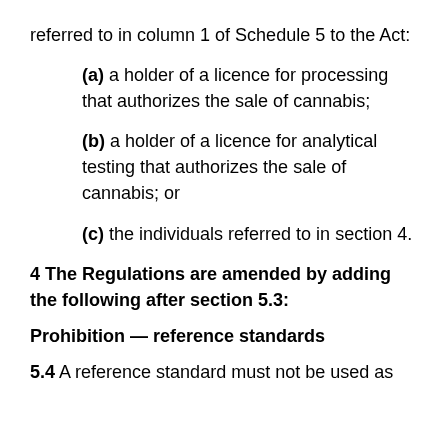referred to in column 1 of Schedule 5 to the Act:
(a) a holder of a licence for processing that authorizes the sale of cannabis;
(b) a holder of a licence for analytical testing that authorizes the sale of cannabis; or
(c) the individuals referred to in section 4.
4 The Regulations are amended by adding the following after section 5.3:
Prohibition — reference standards
5.4 A reference standard must not be used as